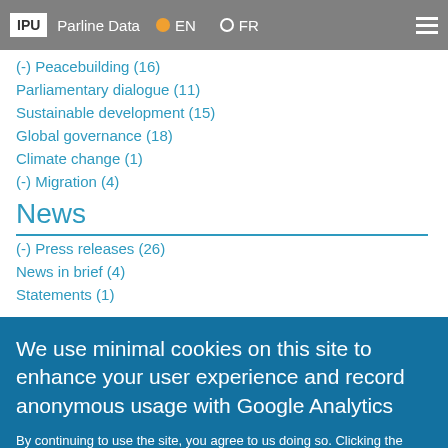IPU Parline Data EN FR
(-) Peacebuilding (16)
Parliamentary dialogue (11)
Sustainable development (15)
Global governance (18)
Climate change (1)
(-) Migration (4)
News
(-) Press releases (26)
News in brief (4)
Statements (1)
We use minimal cookies on this site to enhance your user experience and record anonymous usage with Google Analytics
By continuing to use the site, you agree to us doing so. Clicking the Accept button will remove this message. More on our policies